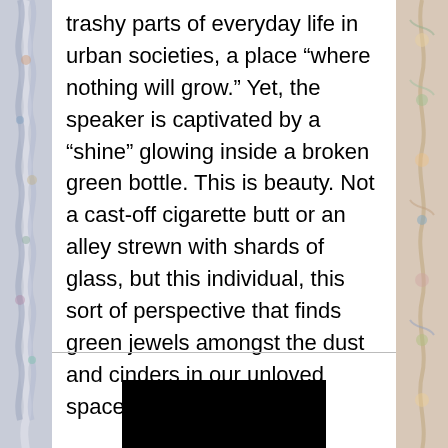trashy parts of everyday life in urban societies, a place “where nothing will grow.” Yet, the speaker is captivated by a “shine” glowing inside a broken green bottle. This is beauty. Not a cast-off cigarette butt or an alley strewn with shards of glass, but this individual, this sort of perspective that finds green jewels amongst the dust and cinders in our unloved spaces.
[Figure (photo): Partially visible image at the bottom of the page, mostly black rectangle]